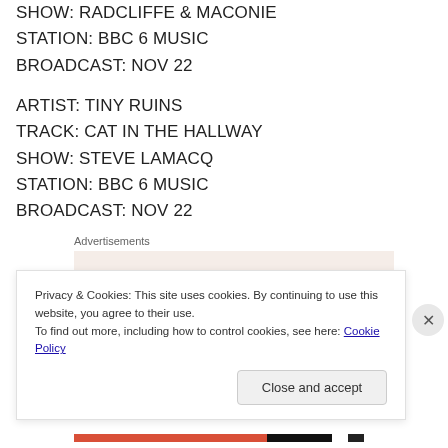SHOW: RADCLIFFE & MACONIE
STATION: BBC 6 MUSIC
BROADCAST: NOV 22
ARTIST: TINY RUINS
TRACK: CAT IN THE HALLWAY
SHOW: STEVE LAMACQ
STATION: BBC 6 MUSIC
BROADCAST: NOV 22
Advertisements
[Figure (other): Advertisement banner with text 'Need a website quickly –' on a light pink/beige background]
Privacy & Cookies: This site uses cookies. By continuing to use this website, you agree to their use.
To find out more, including how to control cookies, see here: Cookie Policy
Close and accept